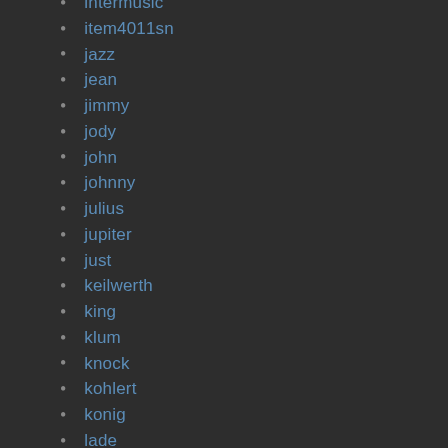intermusic
item4011sn
jazz
jean
jimmy
jody
john
johnny
julius
jupiter
just
keilwerth
king
klum
knock
kohlert
konig
lade
lambada
last
late
latetransitional
lauren